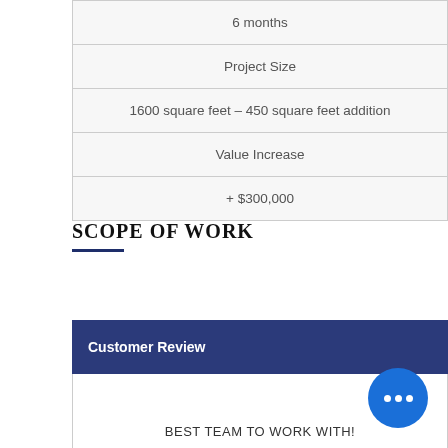| 6 months |
| Project Size |
| 1600 square feet – 450 square feet addition |
| Value Increase |
| + $300,000 |
SCOPE OF WORK
| Customer Review |
| --- |
| BEST TEAM TO WORK WITH! |